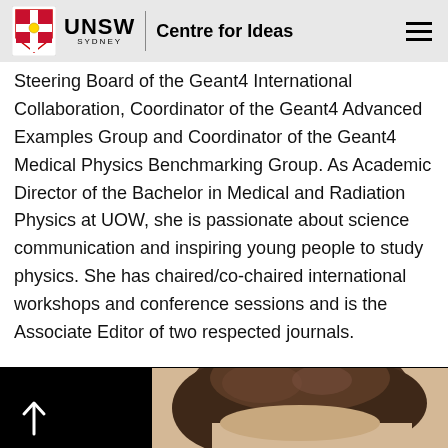UNSW Sydney — Centre for Ideas
Steering Board of the Geant4 International Collaboration, Coordinator of the Geant4 Advanced Examples Group and Coordinator of the Geant4 Medical Physics Benchmarking Group. As Academic Director of the Bachelor in Medical and Radiation Physics at UOW, she is passionate about science communication and inspiring young people to study physics. She has chaired/co-chaired international workshops and conference sessions and is the Associate Editor of two respected journals.
[Figure (photo): Partial view of a person's head with brown hair, visible from the top of the frame at the bottom of the page.]